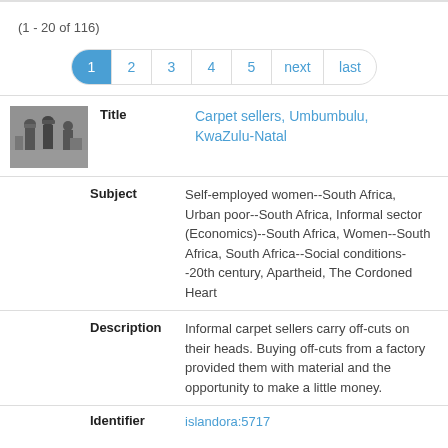(1 - 20 of 116)
[Figure (screenshot): Pagination control showing pages 1 (active/blue), 2, 3, 4, 5, next, last in a pill-shaped border]
[Figure (photo): Black and white thumbnail photograph of people carrying items on their heads]
| Label | Value |
| --- | --- |
| Title | Carpet sellers, Umbumbulu, KwaZulu-Natal |
| Subject | Self-employed women--South Africa, Urban poor--South Africa, Informal sector (Economics)--South Africa, Women--South Africa, South Africa--Social conditions--20th century, Apartheid, The Cordoned Heart |
| Description | Informal carpet sellers carry off-cuts on their heads. Buying off-cuts from a factory provided them with material and the opportunity to make a little money. |
| Identifier | islandora:5717 |